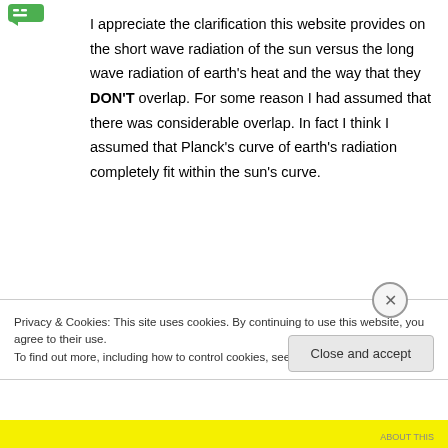[Figure (logo): Green chat bubble / comment icon logo in top left]
I appreciate the clarification this website provides on the short wave radiation of the sun versus the long wave radiation of earth's heat and the way that they DON'T overlap. For some reason I had assumed that there was considerable overlap. In fact I think I assumed that Planck's curve of earth's radiation completely fit within the sun's curve.
“If we try and find an analogy in everyday life nothing really fits this strange arrangement.”
Privacy & Cookies: This site uses cookies. By continuing to use this website, you agree to their use.
To find out more, including how to control cookies, see here: Cookie Policy
Close and accept